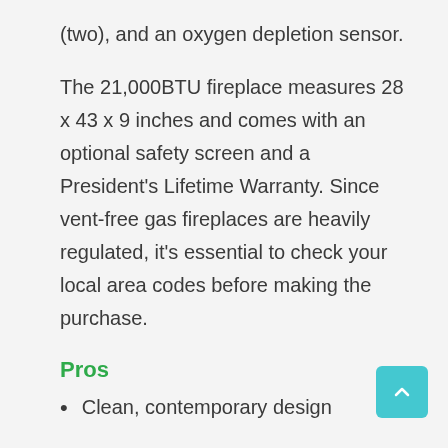(two), and an oxygen depletion sensor.
The 21,000BTU fireplace measures 28 x 43 x 9 inches and comes with an optional safety screen and a President’s Lifetime Warranty. Since vent-free gas fireplaces are heavily regulated, it’s essential to check your local area codes before making the purchase.
Pros
Clean, contemporary design